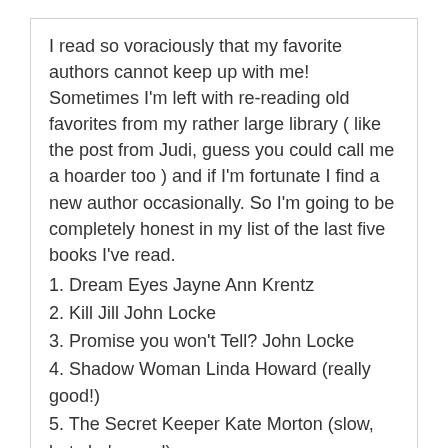I read so voraciously that my favorite authors cannot keep up with me! Sometimes I'm left with re-reading old favorites from my rather large library ( like the post from Judi, guess you could call me a hoarder too ) and if I'm fortunate I find a new author occasionally. So I'm going to be completely honest in my list of the last five books I've read.
1. Dream Eyes Jayne Ann Krentz
2. Kill Jill John Locke
3. Promise you won't Tell? John Locke
4. Shadow Woman Linda Howard (really good!)
5. The Secret Keeper Kate Morton (slow, but she's good)
Reply
Terry Guerra on January 18, 2013 at 11:55 am